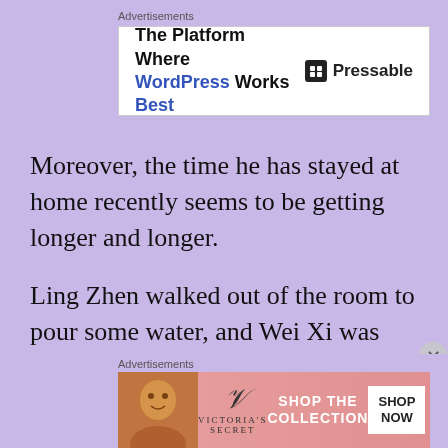[Figure (infographic): Advertisement banner: The Platform Where WordPress Works Best — Pressable logo]
Moreover, the time he has stayed at home recently seems to be getting longer and longer.
Ling Zhen walked out of the room to pour some water, and Wei Xi was also in the kitchen. When she saw her, he handed over a glass of freshly squeezed lemonade.
Ling Zhen took it, took a sip unsuspectingly,
[Figure (infographic): Advertisement banner: Victoria's Secret — Shop The Collection — Shop Now button]